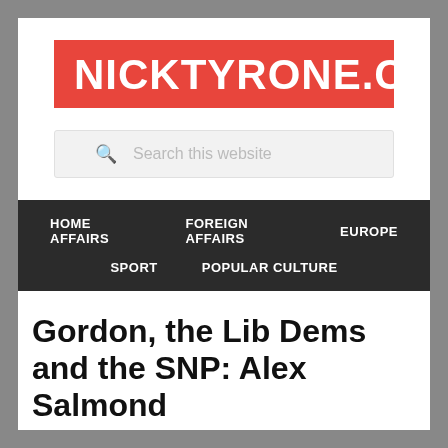NICKTYRONE.COM
Search this website
HOME AFFAIRS   FOREIGN AFFAIRS   EUROPE   SPORT   POPULAR CULTURE
Gordon, the Lib Dems and the SNP: Alex Salmond